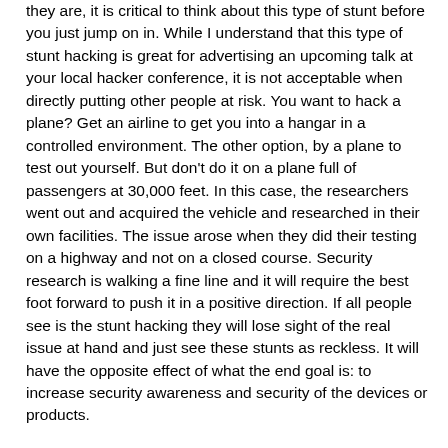they are, it is critical to think about this type of stunt before you just jump on in. While I understand that this type of stunt hacking is great for advertising an upcoming talk at your local hacker conference, it is not acceptable when directly putting other people at risk. You want to hack a plane? Get an airline to get you into a hangar in a controlled environment. The other option, by a plane to test out yourself. But don't do it on a plane full of passengers at 30,000 feet. In this case, the researchers went out and acquired the vehicle and researched in their own facilities. The issue arose when they did their testing on a highway and not on a closed course. Security research is walking a fine line and it will require the best foot forward to push it in a positive direction. If all people see is the stunt hacking they will lose sight of the real issue at hand and just see these stunts as reckless. It will have the opposite effect of what the end goal is: to increase security awareness and security of the devices or products.
If you are in the market for a new vehicle, don't be afraid to